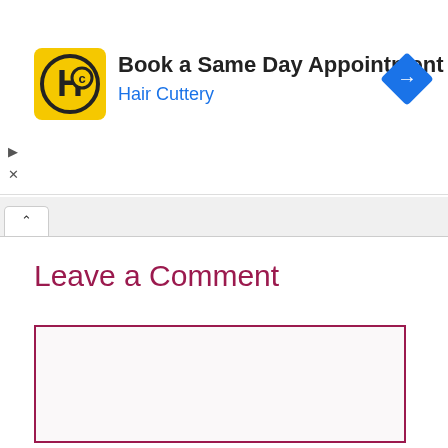[Figure (screenshot): Advertisement banner for Hair Cuttery with yellow HC logo, text 'Book a Same Day Appointment' and 'Hair Cuttery' in blue, and a blue diamond navigation arrow icon on the right.]
Leave a Comment